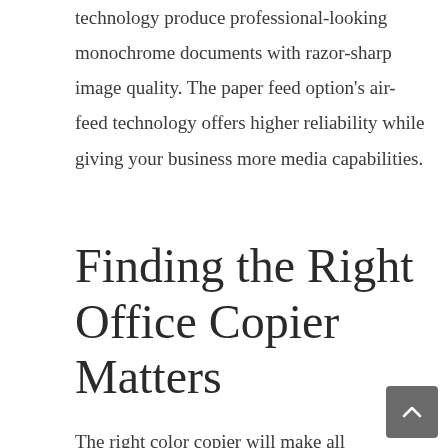technology produce professional-looking monochrome documents with razor-sharp image quality. The paper feed option's air-feed technology offers higher reliability while giving your business more media capabilities.
Finding the Right Office Copier Matters
The right color copier will make all